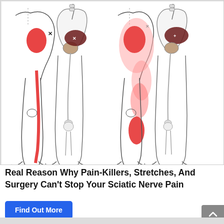[Figure (illustration): Medical illustration showing four views of human legs and hips from the side, with red highlighted areas indicating sciatic nerve pain patterns. Two pairs of figures show different pain distribution patterns — one with a narrow stripe down the back of the leg, and one with a broader area of pain covering more of the thigh and lower leg. The hip anatomy (pelvis, sacrum, piriformis muscle area shown in dark red) is depicted alongside each pair.]
Real Reason Why Pain-Killers, Stretches, And Surgery Can't Stop Your Sciatic Nerve Pain
Find Out More